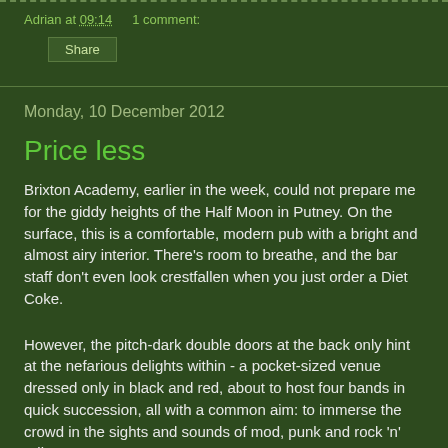Adrian at 09:14   1 comment:
Share
Monday, 10 December 2012
Price less
Brixton Academy, earlier in the week, could not prepare me for the giddy heights of the Half Moon in Putney. On the surface, this is a comfortable, modern pub with a bright and almost airy interior. There's room to breathe, and the bar staff don't even look crestfallen when you just order a Diet Coke.
However, the pitch-dark double doors at the back only hint at the nefarious delights within - a pocket-sized venue dressed only in black and red, about to host four bands in quick succession, all with a common aim: to immerse the crowd in the sights and sounds of mod, punk and rock 'n' roll.